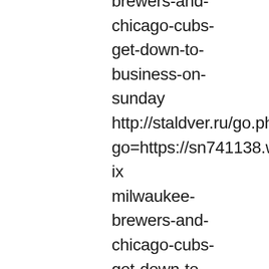brewers-and-chicago-cubs-get-down-to-business-on-sunday http://staldver.ru/go.php?go=https://sn741138.wix milwaukee-brewers-and-chicago-cubs-get-down-to-business-on-